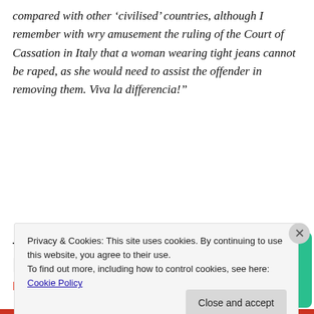compared with other ‘civilised’ countries, although I remember with wry amusement the ruling of the Court of Cassation in Italy that a woman wearing tight jeans cannot be raped, as she would need to assist the offender in removing them. Viva la differencia!”
[Figure (infographic): Advertisement for a podcast app showing bold text 'for podcast lovers.' with a red 'Download now' link and podcast app card graphics including a '99% Invisible' black card with grid pattern]
Privacy & Cookies: This site uses cookies. By continuing to use this website, you agree to their use.
To find out more, including how to control cookies, see here: Cookie Policy
Close and accept